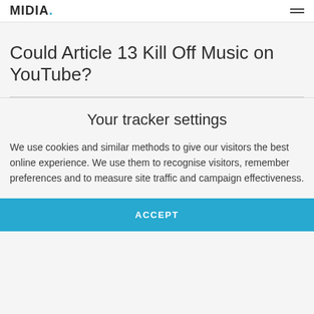MIDIA
Could Article 13 Kill Off Music on YouTube?
Your tracker settings
We use cookies and similar methods to give our visitors the best online experience. We use them to recognise visitors, remember preferences and to measure site traffic and campaign effectiveness.
ACCEPT